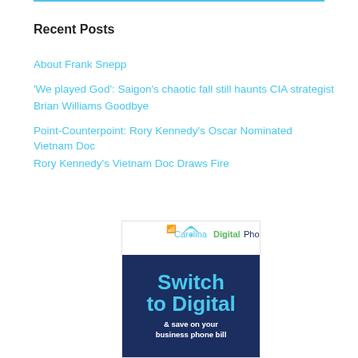Recent Posts
About Frank Snepp
'We played God': Saigon's chaotic fall still haunts CIA strategist
Brian Williams Goodbye
Point-Counterpoint: Rory Kennedy's Oscar Nominated Vietnam Doc
Rory Kennedy's Vietnam Doc Draws Fire
[Figure (logo): Carolina Digital Phone advertisement banner with blue background showing 'Switch to Digital & save on your business phone bill']